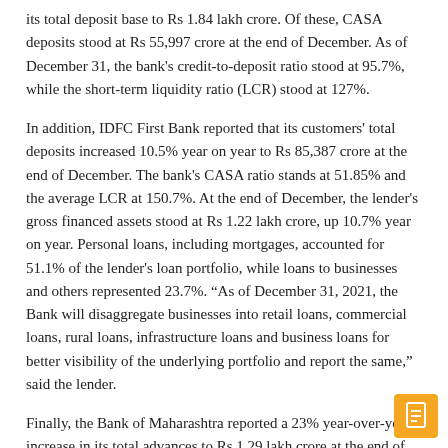its total deposit base to Rs 1.84 lakh crore. Of these, CASA deposits stood at Rs 55,997 crore at the end of December. As of December 31, the bank's credit-to-deposit ratio stood at 95.7%, while the short-term liquidity ratio (LCR) stood at 127%.
In addition, IDFC First Bank reported that its customers' total deposits increased 10.5% year on year to Rs 85,387 crore at the end of December. The bank's CASA ratio stands at 51.85% and the average LCR at 150.7%. At the end of December, the lender's gross financed assets stood at Rs 1.22 lakh crore, up 10.7% year on year. Personal loans, including mortgages, accounted for 51.1% of the lender's loan portfolio, while loans to businesses and others represented 23.7%. “As of December 31, 2021, the Bank will disaggregate businesses into retail loans, commercial loans, rural loans, infrastructure loans and business loans for better visibility of the underlying portfolio and report the same,” said the lender.
Finally, the Bank of Maharashtra reported a 23% year-over-year increase in its total advances to Rs 1.29 lakh crore at the end of December. The lender’s deposit book stood at Rs 1.86 lakh crore, up 15.21% year on year, with a CASA ratio of 55.1%.